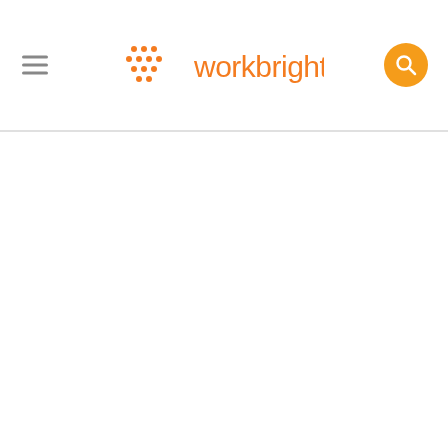[Figure (logo): WorkBright logo with orange dot-pattern chevron/arrow icon on the left and orange text 'workbright' on the right]
[Figure (other): Hamburger menu icon (three horizontal lines) in the top left of the header]
[Figure (other): Orange circular search button with white magnifying glass icon in the top right of the header]